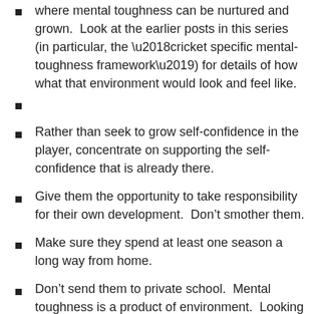where mental toughness can be nurtured and grown.  Look at the earlier posts in this series (in particular, the ‘cricket specific mental-toughness framework’) for details of how what that environment would look and feel like.
Rather than seek to grow self-confidence in the player, concentrate on supporting the self-confidence that is already there.
Give them the opportunity to take responsibility for their own development.  Don’t smother them.
Make sure they spend at least one season a long way from home.
Don’t send them to private school.  Mental toughness is a product of environment.  Looking at the toughest